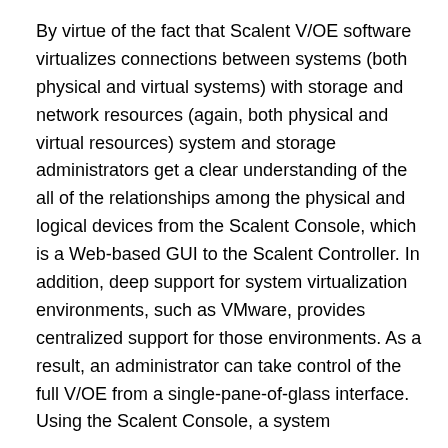By virtue of the fact that Scalent V/OE software virtualizes connections between systems (both physical and virtual systems) with storage and network resources (again, both physical and virtual resources) system and storage administrators get a clear understanding of the all of the relationships among the physical and logical devices from the Scalent Console, which is a Web-based GUI to the Scalent Controller. In addition, deep support for system virtualization environments, such as VMware, provides centralized support for those environments. As a result, an administrator can take control of the full V/OE from a single-pane-of-glass interface.
Using the Scalent Console, a system